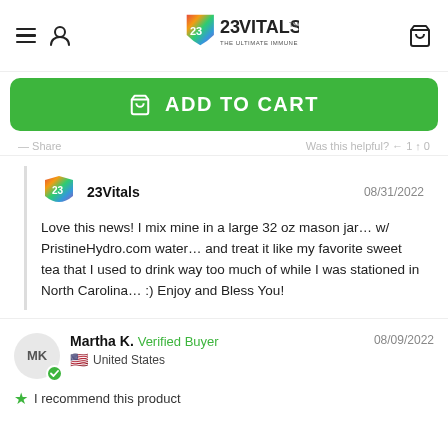23Vitals — THE ULTIMATE IMMUNE SOLUTION™
ADD TO CART
— Share   Was this helpful? ← 1  ↑ 0
23Vitals   08/31/2022
Love this news! I mix mine in a large 32 oz mason jar... w/ PristineHydro.com water... and treat it like my favorite sweet tea that I used to drink way too much of while I was stationed in North Carolina... :) Enjoy and Bless You!
Martha K.  Verified Buyer  08/09/2022
United States
I recommend this product